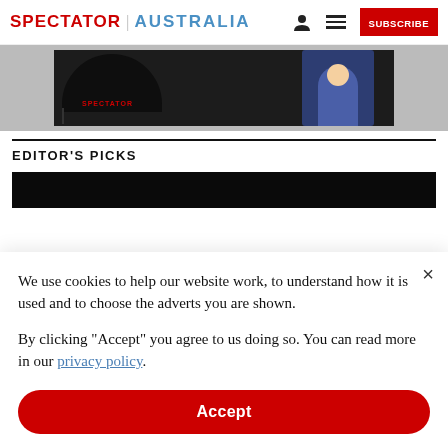SPECTATOR | AUSTRALIA
[Figure (photo): Spectator Australia advertisement banner showing a black umbrella with SPECTATOR text in red and an illustrated character in a blue uniform]
EDITOR'S PICKS
[Figure (photo): Dark/black image strip for Editor's Picks section]
We use cookies to help our website work, to understand how it is used and to choose the adverts you are shown.
By clicking "Accept" you agree to us doing so. You can read more in our privacy policy.